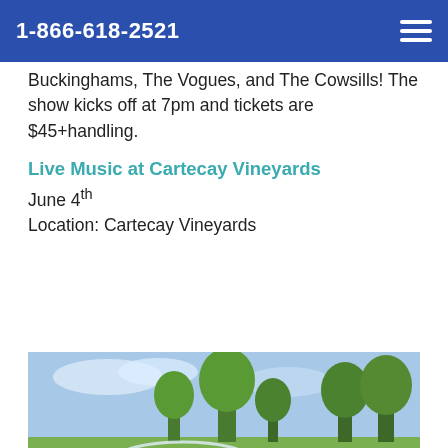1-866-618-2521
Buckinghams, The Vogues, and The Cowsills! The show kicks off at 7pm and tickets are $45+handling.
Live Music at Cartecay Vineyards
June 4th
Location: Cartecay Vineyards
[Figure (photo): A wine glass in the foreground with a vineyard/outdoor landscape with trees and blue sky in the background]